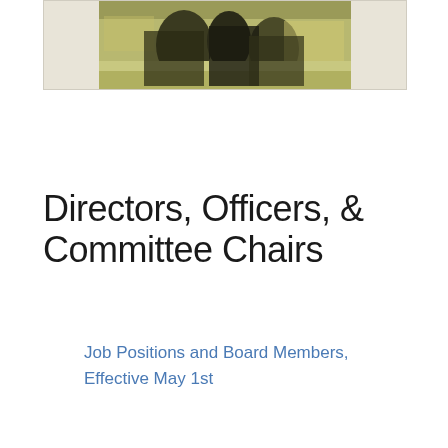[Figure (photo): Black and white / sepia-toned photograph of people in what appears to be an office or meeting room setting, viewed from above/side angle.]
Directors, Officers, & Committee Chairs
Job Positions and Board Members, Effective May 1st